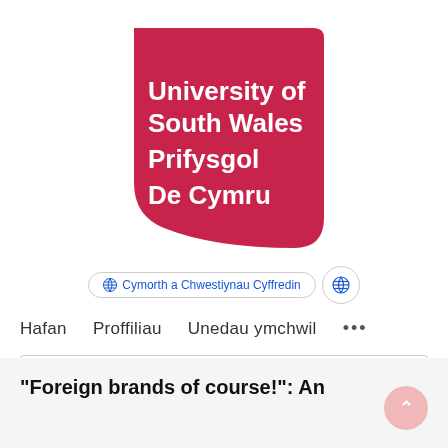[Figure (logo): University of South Wales / Prifysgol De Cymru logo: crimson/red rounded-corner square with white bold text]
Cymorth a Chwestiynau Cyffredin
Hafan   Proffiliau   Unedau ymchwil   ...
Chwilio...
“Foreign brands of course!”: An